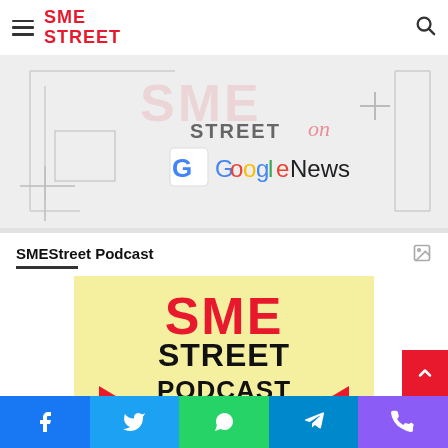SME STREET (logo with hamburger and search)
[Figure (illustration): SME Street on Google News promotional banner with geometric border decorations]
SMEStreet Podcast
[Figure (logo): SME Street Podcast logo on yellow background with red arrow decorations and large text reading SME STREET PODCAST]